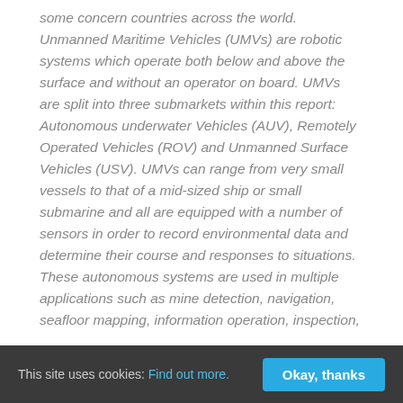some concern countries across the world. Unmanned Maritime Vehicles (UMVs) are robotic systems which operate both below and above the surface and without an operator on board. UMVs are split into three submarkets within this report: Autonomous underwater Vehicles (AUV), Remotely Operated Vehicles (ROV) and Unmanned Surface Vehicles (USV). UMVs can range from very small vessels to that of a mid-sized ship or small submarine and all are equipped with a number of sensors in order to record environmental data and determine their course and responses to situations. These autonomous systems are used in multiple applications such as mine detection, navigation, seafloor mapping, information operation, inspection,
This site uses cookies: Find out more. Okay, thanks